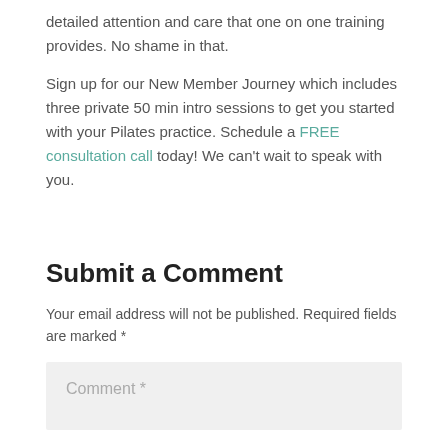detailed attention and care that one on one training provides. No shame in that.
Sign up for our New Member Journey which includes three private 50 min intro sessions to get you started with your Pilates practice. Schedule a FREE consultation call today! We can't wait to speak with you.
Submit a Comment
Your email address will not be published. Required fields are marked *
Comment *